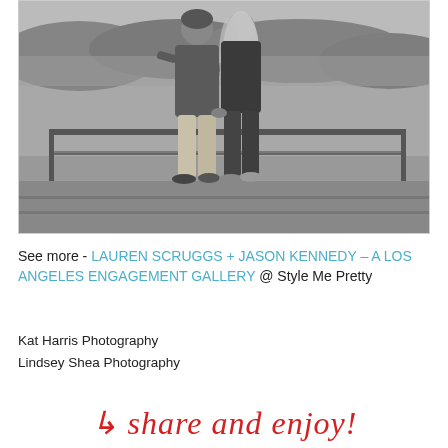[Figure (photo): Black and white engagement photo of a couple (man and woman) standing on a rooftop or elevated deck with a railing, with hills and trees in the background. The woman has long blonde hair and is wearing a dark sweater and jeans; the man is wearing a button-up shirt and light pants.]
See more - LAUREN SCRUGGS + JASON KENNEDY – A LOS ANGELES ENGAGEMENT GALLERY @ Style Me Pretty
Kat Harris Photography
Lindsey Shea Photography
share and enjoy!